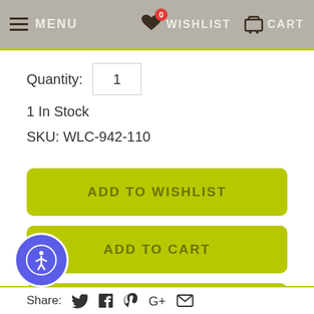MENU  WISHLIST  CART
Quantity: 1
1 In Stock
SKU: WLC-942-110
ADD TO WISHLIST
ADD TO CART
LOGIN TO REDEEM POINTS
Share: